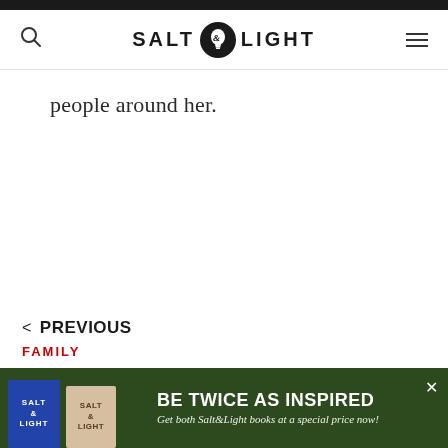SALT & LIGHT
people around her.
< PREVIOUS
FAMILY
“Refugees are people, not aliens!”: Seven-year-old who followed parents to serve the
[Figure (infographic): Advertisement banner for Salt & Light books. Shows two book covers (blue and tan) alongside text: BE TWICE AS INSPIRED - Get both Salt&Light books at a special price now!]